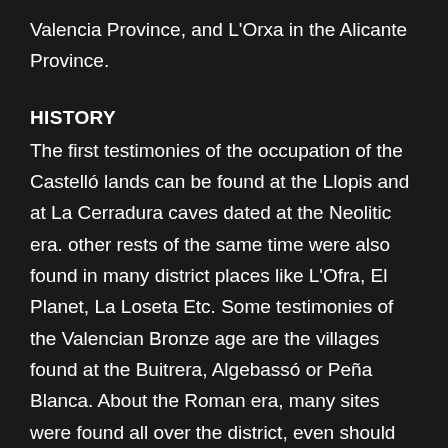Valencia Province, and L'Orxa in the Alicante Province.
HISTORY
The first testimonies of the occupation of the Castelló lands can be found at the Llopis and at La Cerradura caves dated at the Neolitic era. other rests of the same time were also found in many district places like L'Ofra, El Planet, La Loseta Etc. Some testimonies of the Valencian Bronze age are the villages found at the Buitrera, Algebassó or Peña Blanca. About the Roman era, many sites were found all over the district, even should be distinguished